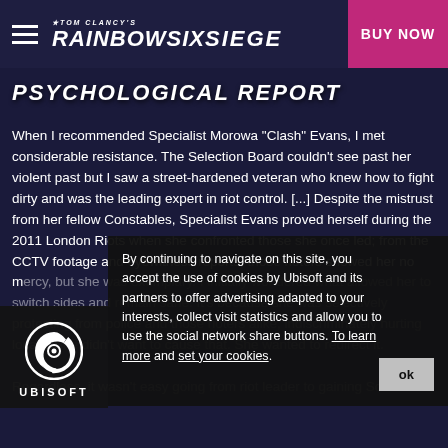Rainbow Six Siege — BUY NOW
PSYCHOLOGICAL REPORT
When I recommended Specialist Morowa "Clash" Evans, I met considerable resistance. The Selection Board couldn't see past her violent past but I saw a street-hardened veteran who knew how to fight dirty and was the leading expert in riot control. [...] Despite the mistrust from her fellow Constables, Specialist Evans proved herself during the 2011 London Riots when she confronted those she once led; from the CCTV footage and eyewitness reports, those rioters showed her no mercy, but she was exemplary. I initially wondered what allowed her to switch sides and remain sane. It's because she was selectively protecting from police and those rioters alike, indiscriminately hurting locals. She didn't want to cause that. She wanted to redirect it.

Regardless, it wasn't easy going from riot leader to gaining Scotland Yard's trust. I'd say it's the very definition of an uphill battle and I know for a fact that every misstep was used
By continuing to navigate on this site, you accept the use of cookies by Ubisoft and its partners to offer advertising adapted to your interests, collect visit statistics and allow you to use the social network share buttons. To learn more and set your cookies.